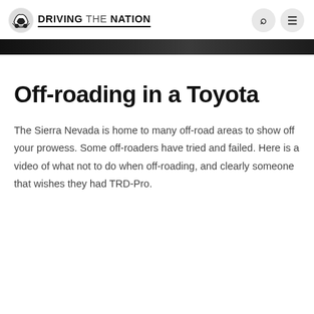DRIVING THE NATION
Off-roading in a Toyota
The Sierra Nevada is home to many off-road areas to show off your prowess. Some off-roaders have tried and failed. Here is a video of what not to do when off-roading, and clearly someone that wishes they had TRD-Pro.